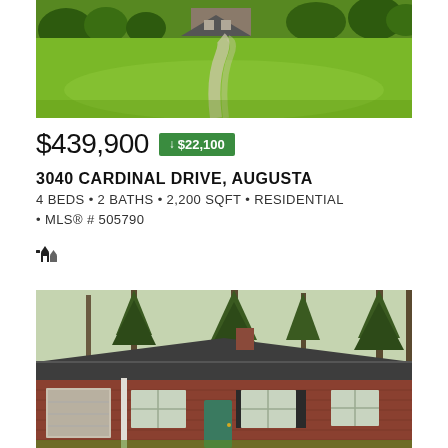[Figure (photo): Aerial or front-yard view of property showing green lawn and curved driveway]
$439,900 ↓ $22,100
3040 CARDINAL DRIVE, AUGUSTA
4 BEDS • 2 BATHS • 2,200 SQFT • RESIDENTIAL • MLS® # 505790
[Figure (photo): Front exterior of a brick ranch-style house with dark roof, white-trimmed windows, and tall pine trees in background]